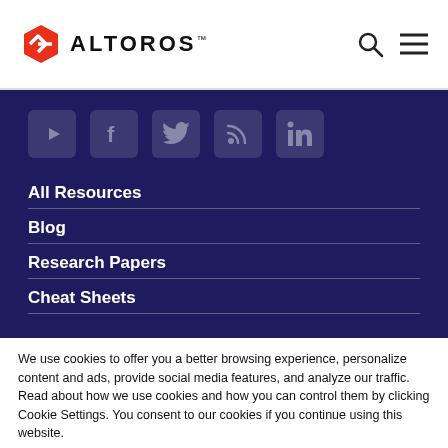ALTOROS
[Figure (logo): Altoros red hexagon logo with chevron/arrow mark]
[Figure (infographic): Social media icons: YouTube, Facebook, Twitter, RSS, LinkedIn in rounded square boxes on dark blue background]
All Resources
Blog
Research Papers
Cheat Sheets
We use cookies to offer you a better browsing experience, personalize content and ads, provide social media features, and analyze our traffic. Read about how we use cookies and how you can control them by clicking Cookie Settings. You consent to our cookies if you continue using this website.
I accept
Cookie settings